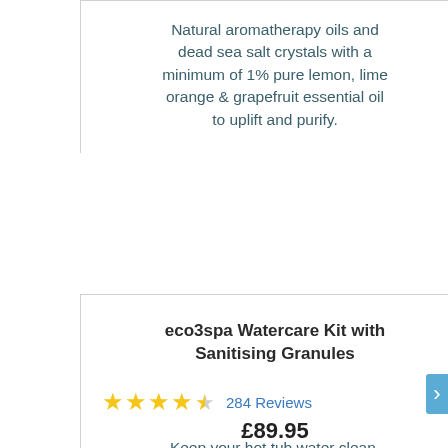Natural aromatherapy oils and dead sea salt crystals with a minimum of 1% pure lemon, lime orange & grapefruit essential oil to uplift and purify.
eco3spa Watercare Kit with Sanitising Granules
284 Reviews
£89.95
Keep your hot tub water clean,